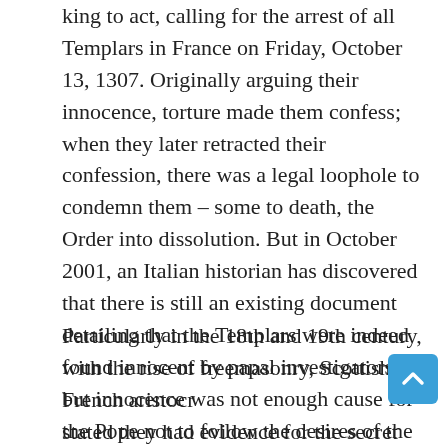king to act, calling for the arrest of all Templars in France on Friday, October 13, 1307. Originally arguing their innocence, torture made them confess; when they later retracted their confession, there was a legal loophole to condemn them – some to death, the Order into dissolution. But in October 2001, an Italian historian has discovered that there is still an existing document detailing that the Templars were indeed found innocent by papal investigators; but innocence was not enough cause for the Pope not to follow the desires of the French king.
Particularly in the 18th and 19th century, with the rise of freemasonry, Scottish and French aristocrats stated they had evidence for the secret survival of the Templars beyond 1312. They allegedly became